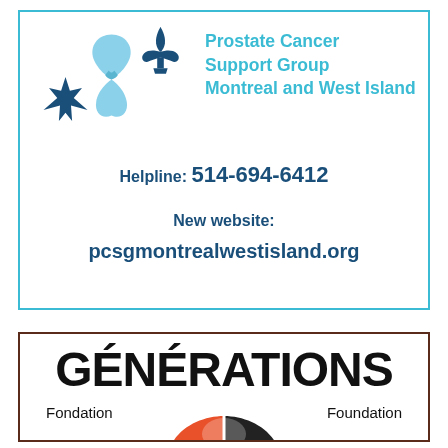[Figure (logo): Prostate Cancer Support Group Montreal and West Island logo with blue ribbon, maple leaf, and fleur-de-lis]
Prostate Cancer Support Group Montreal and West Island
Helpline: 514-694-6412
New website:
pcsgmontrealwestisland.org
[Figure (logo): Générations Fondation / Foundation logo with large black text GÉNÉRATIONS and a red/black heart with hands graphic below]